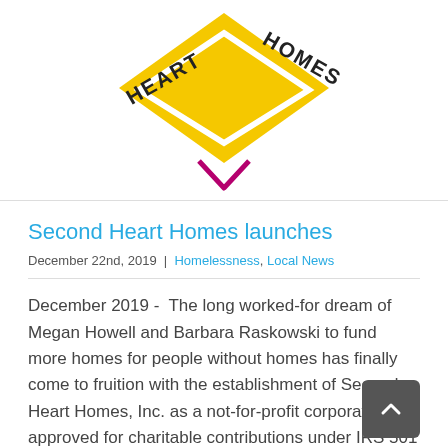[Figure (logo): Second Heart Homes logo: large downward-pointing yellow chevron/heart shape with text 'HEART HOMES' arced around it, and a smaller magenta/pink chevron below]
Second Heart Homes launches
December 22nd, 2019  |  Homelessness, Local News
December 2019 -  The long worked-for dream of Megan Howell and Barbara Raskowski to fund more homes for people without homes has finally come to fruition with the establishment of Second Heart Homes, Inc. as a not-for-profit corporation, approved for charitable contributions under IRS 501(C) rules. Second Heart Homes, Inc.  NOT A HOUSE, BUT [...]